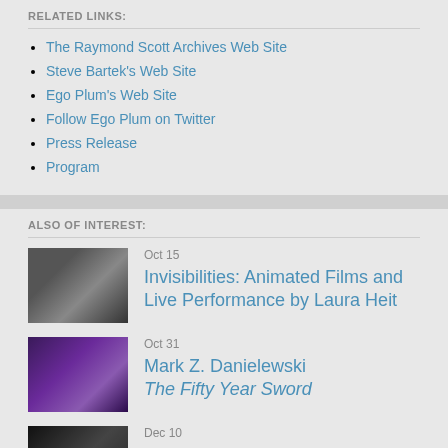RELATED LINKS:
The Raymond Scott Archives Web Site
Steve Bartek's Web Site
Ego Plum's Web Site
Follow Ego Plum on Twitter
Press Release
Program
ALSO OF INTEREST:
Oct 15
Invisibilities: Animated Films and Live Performance by Laura Heit
Oct 31
Mark Z. Danielewski
The Fifty Year Sword
Dec 10